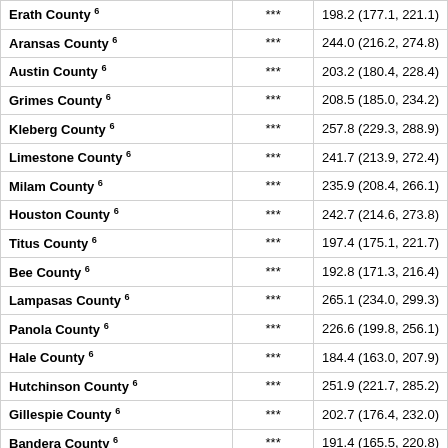| County |  |  |
| --- | --- | --- |
| Erath County 6 | *** | 198.2 (177.1, 221.1) |
| Aransas County 6 | *** | 244.0 (216.2, 274.8) |
| Austin County 6 | *** | 203.2 (180.4, 228.4) |
| Grimes County 6 | *** | 208.5 (185.0, 234.2) |
| Kleberg County 6 | *** | 257.8 (229.3, 288.9) |
| Limestone County 6 | *** | 241.7 (213.9, 272.4) |
| Milam County 6 | *** | 235.9 (208.4, 266.1) |
| Houston County 6 | *** | 242.7 (214.6, 273.8) |
| Titus County 6 | *** | 197.4 (175.1, 221.7) |
| Bee County 6 | *** | 192.8 (171.3, 216.4) |
| Lampasas County 6 | *** | 265.1 (234.0, 299.3) |
| Panola County 6 | *** | 226.6 (199.8, 256.1) |
| Hale County 6 | *** | 184.4 (163.0, 207.9) |
| Hutchinson County 6 | *** | 251.9 (221.7, 285.2) |
| Gillespie County 6 | *** | 202.7 (176.4, 232.0) |
| Bandera County 6 | *** | 191.4 (165.5, 220.8) |